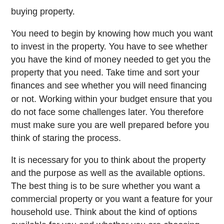buying property.
You need to begin by knowing how much you want to invest in the property. You have to see whether you have the kind of money needed to get you the property that you need. Take time and sort your finances and see whether you will need financing or not. Working within your budget ensure that you do not face some challenges later. You therefore must make sure you are well prepared before you think of staring the process.
It is necessary for you to think about the property and the purpose as well as the available options. The best thing is to be sure whether you want a commercial property or you want a feature for your household use. Think about the kind of options available for you and whether you are choosing the best option. That way you will make use of all the resources available, and you will have the best out of your investment. You will be happy of your favorites if you take time to analyze the options available and to select the best one for